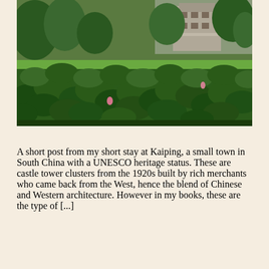[Figure (photo): Outdoor photograph showing a dense field of large green lotus leaves in the foreground, with lush green grass and a traditional multi-story stone or concrete building visible in the background, surrounded by trees and vegetation.]
A short post from my short stay at Kaiping, a small town in South China with a UNESCO heritage status. These are castle tower clusters from the 1920s built by rich merchants who came back from the West, hence the blend of Chinese and Western architecture. However in my books, these are the type of [...]